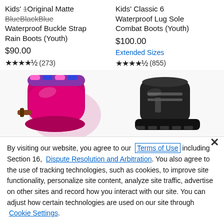Kids' Original Matte Blue Black Blue Waterproof Buckle Strap Rain Boots (Youth)
$90.00
★★★★⯨ (273)
Kids' Classic 6 Waterproof Lug Sole Combat Boots (Youth)
$100.00
Extended Sizes
★★★★⯨ (855)
[Figure (photo): Pink/magenta kids boot shown from top/side angle]
[Figure (photo): Black kids combat boot shown from side angle]
By visiting our website, you agree to our Terms of Use including Section 16, Dispute Resolution and Arbitration. You also agree to the use of tracking technologies, such as cookies, to improve site functionality, personalize site content, analyze site traffic, advertise on other sites and record how you interact with our site. You can adjust how certain technologies are used on our site through Cookie Settings.